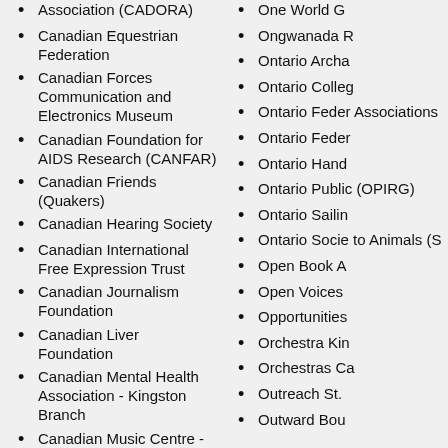Association (CADORA)
Canadian Equestrian Federation
Canadian Forces Communication and Electronics Museum
Canadian Foundation for AIDS Research (CANFAR)
Canadian Friends (Quakers)
Canadian Hearing Society
Canadian International Free Expression Trust
Canadian Journalism Foundation
Canadian Liver Foundation
Canadian Mental Health Association - Kingston Branch
Canadian Music Centre - Marjan Mozetich
Canadian Music Competitions
Canadian National Institute for the Blind (CNIB)
Canadian Opera Company
Canadian Organization for Development
One World G
Ongwanada R
Ontario Archa
Ontario Colleg
Ontario Feder Associations
Ontario Feder
Ontario Hand
Ontario Public (OPIRG)
Ontario Sailin
Ontario Socie to Animals (S
Open Book A
Open Voices
Opportunities
Orchestra Kin
Orchestras Ca
Outreach St.
Outward Bou